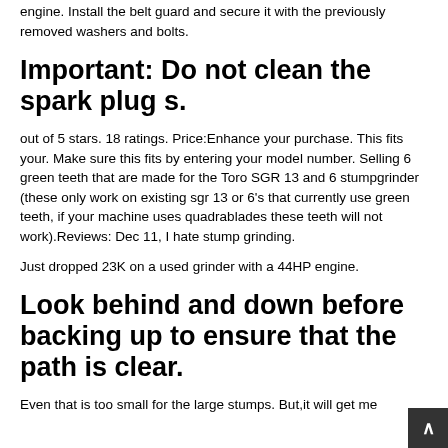engine. Install the belt guard and secure it with the previously removed washers and bolts.
Important: Do not clean the spark plug s.
out of 5 stars. 18 ratings. Price:Enhance your purchase. This fits your. Make sure this fits by entering your model number. Selling 6 green teeth that are made for the Toro SGR 13 and 6 stumpgrinder (these only work on existing sgr 13 or 6's that currently use green teeth, if your machine uses quadrablades these teeth will not work).Reviews: Dec 11, I hate stump grinding.
Just dropped 23K on a used grinder with a 44HP engine.
Look behind and down before backing up to ensure that the path is clear.
Even that is too small for the large stumps. But,it will get me